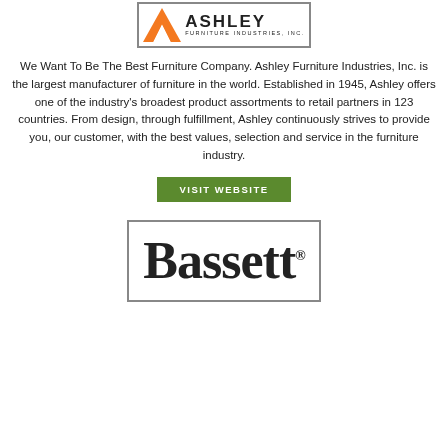[Figure (logo): Ashley Furniture Industries, Inc. logo with orange arrow/chevron graphic and company name]
We Want To Be The Best Furniture Company. Ashley Furniture Industries, Inc. is the largest manufacturer of furniture in the world. Established in 1945, Ashley offers one of the industry's broadest product assortments to retail partners in 123 countries. From design, through fulfillment, Ashley continuously strives to provide you, our customer, with the best values, selection and service in the furniture industry.
VISIT WEBSITE
[Figure (logo): Bassett logo in bold serif font with registered trademark symbol, inside a rectangular border]